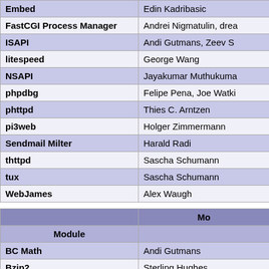| Module |  |
| --- | --- |
| Embed | Edin Kadribasic |
| FastCGI Process Manager | Andrei Nigmatulin, drea... |
| ISAPI | Andi Gutmans, Zeev Su... |
| litespeed | George Wang |
| NSAPI | Jayakumar Muthukuma... |
| phpdbg | Felipe Pena, Joe Watki... |
| phttpd | Thies C. Arntzen |
| pi3web | Holger Zimmermann |
| Sendmail Milter | Harald Radi |
| thttpd | Sascha Schumann |
| tux | Sascha Schumann |
| WebJames | Alex Waugh |
| Module | Mo... |
| --- | --- |
| BC Math | Andi Gutmans |
| Bzip2 | Sterling Hughes |
| Calendar | Shane Caraveo, Colin V... |
| COM and .Net | Wez Furlong |
| ctype | Hartmut Holzgraefe |